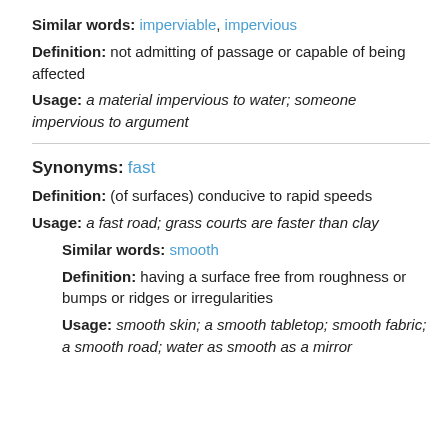Similar words: imperviable, impervious
Definition: not admitting of passage or capable of being affected
Usage: a material impervious to water; someone impervious to argument
Synonyms: fast
Definition: (of surfaces) conducive to rapid speeds
Usage: a fast road; grass courts are faster than clay
Similar words: smooth
Definition: having a surface free from roughness or bumps or ridges or irregularities
Usage: smooth skin; a smooth tabletop; smooth fabric; a smooth road; water as smooth as a mirror